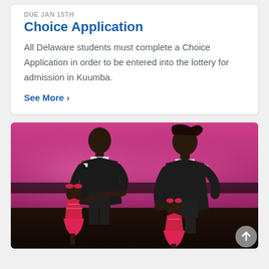DUE JAN 15TH
Choice Application
All Delaware students must complete a Choice Application in order to be entered into the lottery for admission in Kuumba.
See More >
[Figure (photo): Two men in formal suits dancing or interacting with young girls in red dresses on a stage with a pink/magenta lit backdrop.]